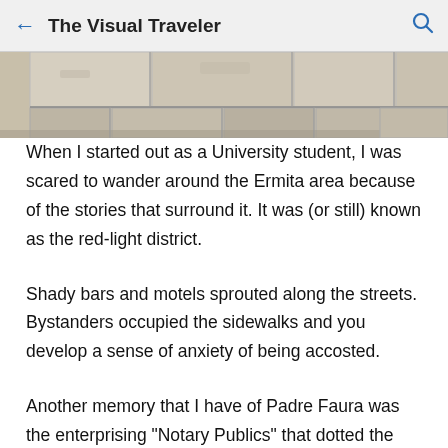← The Visual Traveler 🔍
[Figure (photo): Bottom portion of a stone wall with large pale limestone or marble blocks, close-up view showing the base and ground level.]
When I started out as a University student, I was scared to wander around the Ermita area because of the stories that surround it. It was (or still) known as the red-light district.
Shady bars and motels sprouted along the streets. Bystanders occupied the sidewalks and you develop a sense of anxiety of being accosted.
Another memory that I have of Padre Faura was the enterprising "Notary Publics" that dotted the street. It